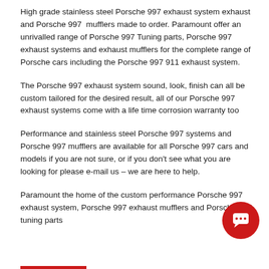High grade stainless steel Porsche 997 exhaust system exhaust and Porsche 997  mufflers made to order. Paramount offer an unrivalled range of Porsche 997 Tuning parts, Porsche 997 exhaust systems and exhaust mufflers for the complete range of Porsche cars including the Porsche 997 911 exhaust system.
The Porsche 997 exhaust system sound, look, finish can all be custom tailored for the desired result, all of our Porsche 997 exhaust systems come with a life time corrosion warranty too
Performance and stainless steel Porsche 997 systems and Porsche 997 mufflers are available for all Porsche 997 cars and models if you are not sure, or if you don't see what you are looking for please e-mail us – we are here to help.
Paramount the home of the custom performance Porsche 997 exhaust system, Porsche 997 exhaust mufflers and Porsche 997 tuning parts
[Figure (illustration): Red circular chat button with speech bubble icon in the bottom right corner]